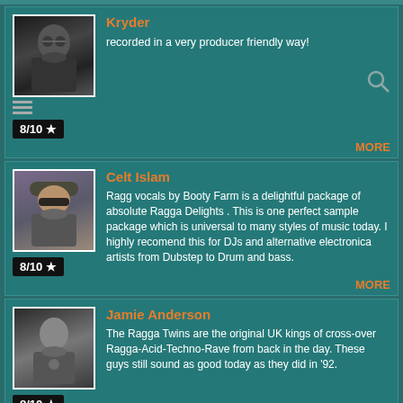Kryder
recorded in a very producer friendly way!
8/10 ★
MORE
Celt Islam
Ragg vocals by Booty Farm is a delightful package of absolute Ragga Delights . This is one perfect sample package which is universal to many styles of music today. I highly recomend this for DJs and alternative electronica artists from Dubstep to Drum and bass.
8/10 ★
MORE
Jamie Anderson
The Ragga Twins are the original UK kings of cross-over Ragga-Acid-Techno-Rave from back in the day. These guys still sound as good today as they did in '92.
8/10 ★
MORE